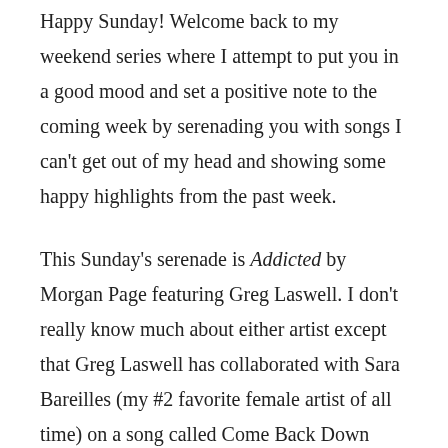Happy Sunday! Welcome back to my weekend series where I attempt to put you in a good mood and set a positive note to the coming week by serenading you with songs I can't get out of my head and showing some happy highlights from the past week.
This Sunday's serenade is Addicted by Morgan Page featuring Greg Laswell. I don't really know much about either artist except that Greg Laswell has collaborated with Sara Bareilles (my #2 favorite female artist of all time) on a song called Come Back Down (google it!). Anyway, I was checking out some of the curated playlists on Spotify when